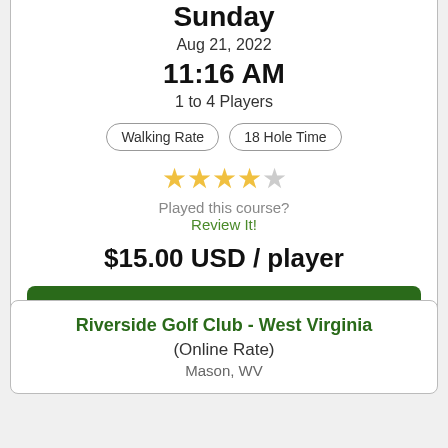Sunday
Aug 21, 2022
11:16 AM
1 to 4 Players
Walking Rate | 18 Hole Time
[Figure (other): 4 out of 5 stars rating]
Played this course?
Review It!
$15.00 USD / player
Book Now
Riverside Golf Club - West Virginia
(Online Rate)
Mason, WV